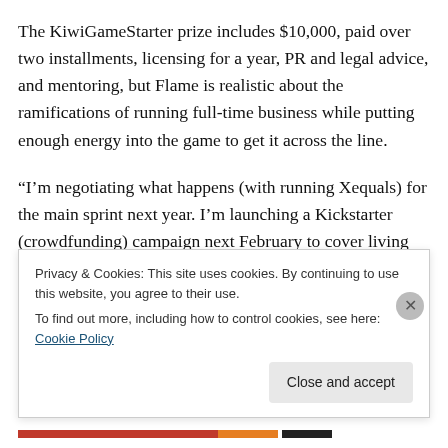The KiwiGameStarter prize includes $10,000, paid over two installments, licensing for a year, PR and legal advice, and mentoring, but Flame is realistic about the ramifications of running full-time business while putting enough energy into the game to get it across the line.
“I’m negotiating what happens (with running Xequals) for the main sprint next year. I’m launching a Kickstarter (crowdfunding) campaign next February to cover living costs. I’m selling early access to the game and merchandise. Funders can be part of the journey.”
Privacy & Cookies: This site uses cookies. By continuing to use this website, you agree to their use.
To find out more, including how to control cookies, see here: Cookie Policy
Close and accept